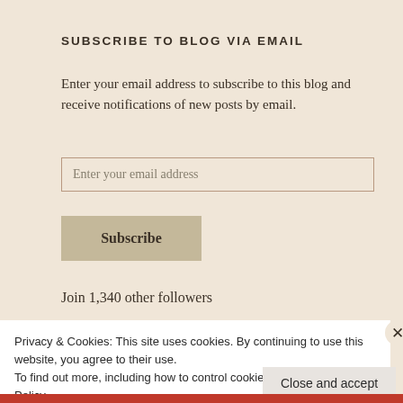SUBSCRIBE TO BLOG VIA EMAIL
Enter your email address to subscribe to this blog and receive notifications of new posts by email.
Enter your email address
Subscribe
Join 1,340 other followers
Privacy & Cookies: This site uses cookies. By continuing to use this website, you agree to their use.
To find out more, including how to control cookies, see here: Cookie Policy
Close and accept